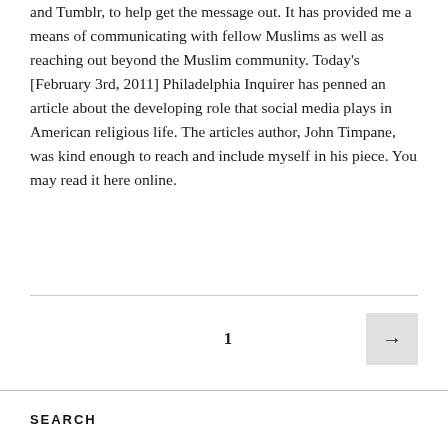and Tumblr, to help get the message out. It has provided me a means of communicating with fellow Muslims as well as reaching out beyond the Muslim community. Today's [February 3rd, 2011] Philadelphia Inquirer has penned an article about the developing role that social media plays in American religious life. The articles author, John Timpane, was kind enough to reach and include myself in his piece. You may read it here online.
1
SEARCH